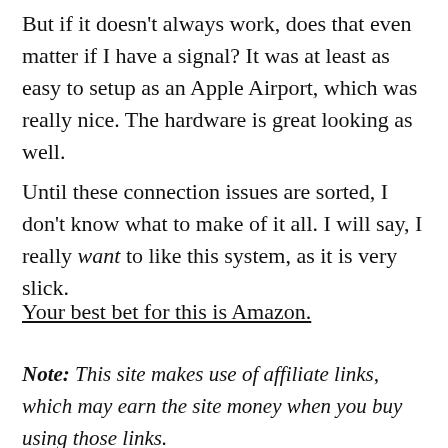But if it doesn't always work, does that even matter if I have a signal? It was at least as easy to setup as an Apple Airport, which was really nice. The hardware is great looking as well.
Until these connection issues are sorted, I don't know what to make of it all. I will say, I really want to like this system, as it is very slick.
Your best bet for this is Amazon.
Note: This site makes use of affiliate links, which may earn the site money when you buy using those links.